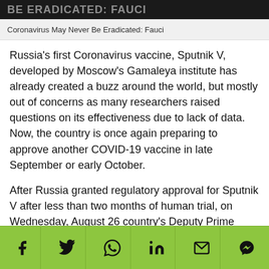BE ERADICATED: FAUCI
Coronavirus May Never Be Eradicated: Fauci
Russia's first Coronavirus vaccine, Sputnik V, developed by Moscow's Gamaleya institute has already created a buzz around the world, but mostly out of concerns as many researchers raised questions on its effectiveness due to lack of data. Now, the country is once again preparing to approve another COVID-19 vaccine in late September or early October.
After Russia granted regulatory approval for Sputnik V after less than two months of human trial, on Wednesday, August 26 country's Deputy Prime Minister Tatiana Golikova said Russia is now preparing to approve its second vaccine against the novel
[Figure (other): Social share bar with icons for Facebook, Twitter, WhatsApp, LinkedIn, Email, and Messenger on a green background]